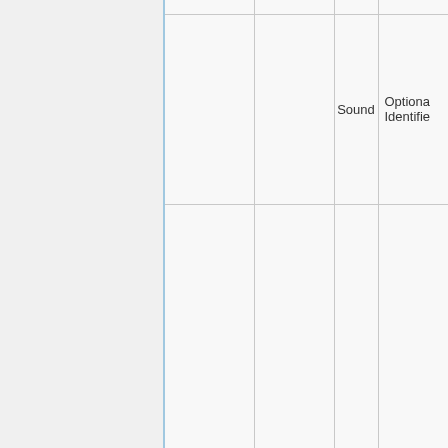|  |  |  | Sound | Optional Identifier |
| --- | --- | --- | --- | --- |
|  |  |  |  |  |
|  |  |  |  |  |
|  |  |  | Sound | Optional
Identifier |
|  |  |  |  |  |
|  |  |  |  |  |